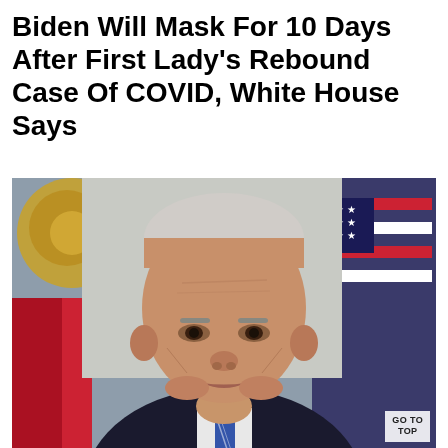Biden Will Mask For 10 Days After First Lady's Rebound Case Of COVID, White House Says
[Figure (photo): Close-up photo of President Joe Biden with a serious expression, wearing a dark suit and striped tie. Behind him are American flags and a decorative background suggesting the White House interior.]